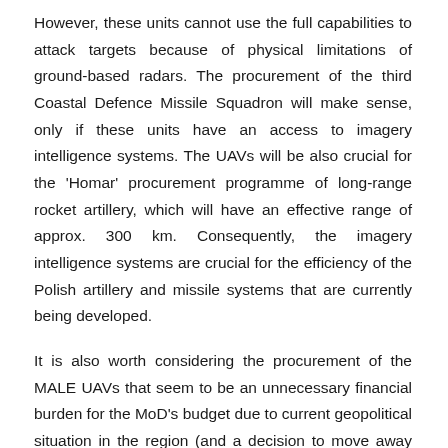However, these units cannot use the full capabilities to attack targets because of physical limitations of ground-based radars. The procurement of the third Coastal Defence Missile Squadron will make sense, only if these units have an access to imagery intelligence systems. The UAVs will be also crucial for the 'Homar' procurement programme of long-range rocket artillery, which will have an effective range of approx. 300 km. Consequently, the imagery intelligence systems are crucial for the efficiency of the Polish artillery and missile systems that are currently being developed.
It is also worth considering the procurement of the MALE UAVs that seem to be an unnecessary financial burden for the MoD's budget due to current geopolitical situation in the region (and a decision to move away from the concept of the Polish Armed Forces as expeditionary forces). This programme will be certainly very expensive and it will not improve significantly either operational